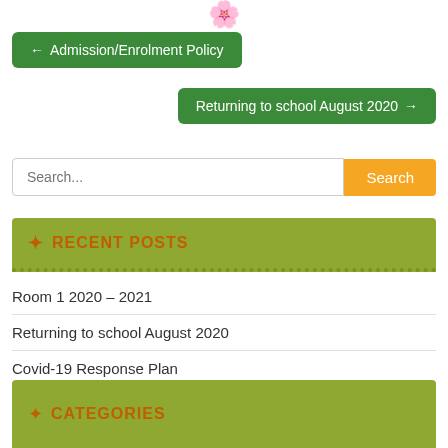[Figure (illustration): Flower emoji decoration at top center]
← Admission/Enrolment Policy
Returning to school August 2020 →
Search...
RECENT POSTS
Room 1 2020 – 2021
Returning to school August 2020
Covid-19 Response Plan
Admission/Enrolment Policy
Room 1 – (2019 – 2020) – It's not all hard work!
CATEGORIES